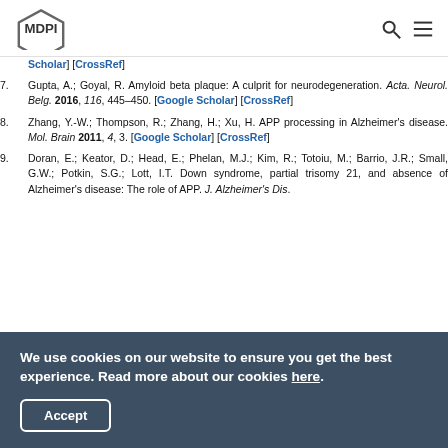MDPI
Scholar] [CrossRef]
7. Gupta, A.; Goyal, R. Amyloid beta plaque: A culprit for neurodegeneration. Acta. Neurol. Belg. 2016, 116, 445–450. [Google Scholar] [CrossRef]
8. Zhang, Y.-W.; Thompson, R.; Zhang, H.; Xu, H. APP processing in Alzheimer's disease. Mol. Brain 2011, 4, 3. [Google Scholar] [CrossRef]
9. Doran, E.; Keator, D.; Head, E.; Phelan, M.J.; Kim, R.; Totoiu, M.; Barrio, J.R.; Small, G.W.; Potkin, S.G.; Lott, I.T. Down syndrome, partial trisomy 21, and absence of Alzheimer's disease: The role of APP. J. Alzheimer's Dis.
We use cookies on our website to ensure you get the best experience. Read more about our cookies here.